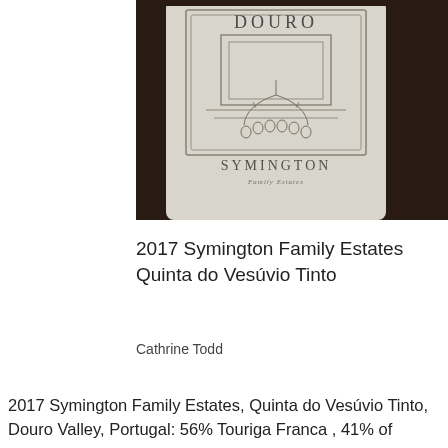[Figure (photo): Close-up photograph of a wine bottle label reading DOURO at top, with an architectural/vineyard illustration in the center, and SYMINGTON Family Estates at the bottom. The bottle is set against a dark background.]
2017 Symington Family Estates Quinta do Vesúvio Tinto
Cathrine Todd
2017 Symington Family Estates, Quinta do Vesúvio Tinto, Douro Valley, Portugal: 56% Touriga Franca , 41% of